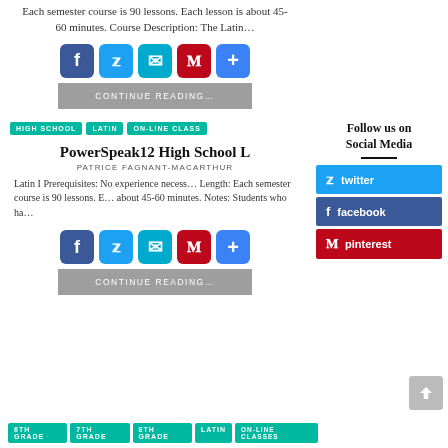Each semester course is 90 lessons. Each lesson is about 45-60 minutes. Course Description: The Latin…
[Figure (infographic): Social sharing icons: Facebook, Twitter, Email, Pinterest, Plus]
CONTINUE READING…
HIGH SCHOOL
LATIN
ON-LINE CLASS
PowerSpeak12 High School L…
PATRICE FAGNANT-MACARTHUR
Latin I Prerequisites: No experience necess… Length: Each semester course is 90 lessons. E… about 45-60 minutes. Notes: Students who ha…
[Figure (infographic): Social sharing icons: Facebook, Twitter, Email, Pinterest, Plus]
CONTINUE READING…
Follow us on Social Media
twitter
facebook
pinterest
6TH GRADE
7TH GRADE
8TH GRADE
LATIN
ON-LINE CLASSES